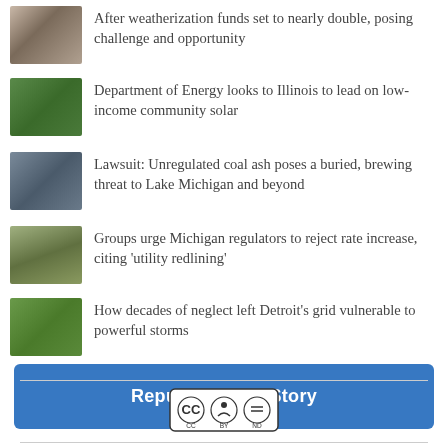After weatherization funds set to nearly double, posing challenge and opportunity
Department of Energy looks to Illinois to lead on low-income community solar
Lawsuit: Unregulated coal ash poses a buried, brewing threat to Lake Michigan and beyond
Groups urge Michigan regulators to reject rate increase, citing 'utility redlining'
How decades of neglect left Detroit's grid vulnerable to powerful storms
Republish This Story
[Figure (logo): Creative Commons BY-ND license badge]